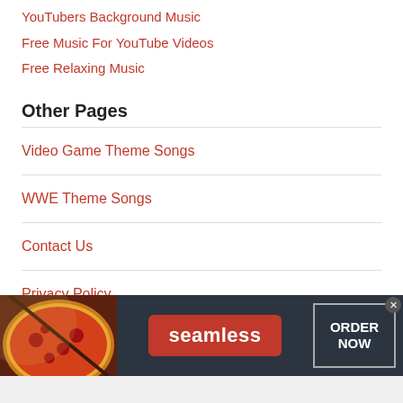YouTubers Background Music
Free Music For YouTube Videos
Free Relaxing Music
Other Pages
Video Game Theme Songs
WWE Theme Songs
Contact Us
Privacy Policy
[Figure (infographic): Seamless food delivery advertisement banner showing pizza image on left, red Seamless logo in center, and ORDER NOW button on right, with close (x) button in top-right corner]